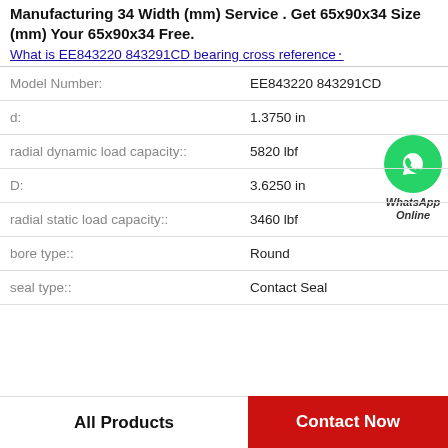Manufacturing 34 Width (mm) Service . Get 65x90x34 Size (mm) Your 65x90x34 Free.
What is EE843220 843291CD bearing cross reference
| Property | Value |
| --- | --- |
| Model Number: | EE843220 843291CD |
| d: | 1.3750 in |
| radial dynamic load capacity:: | 5820 lbf |
| D: | 3.6250 in |
| radial static load capacity:: | 3460 lbf |
| bore type:: | Round |
| seal type:: | Contact Seal |
[Figure (logo): WhatsApp Online contact button with green circle phone icon and italic text 'WhatsApp Online']
All Products
Contact Now